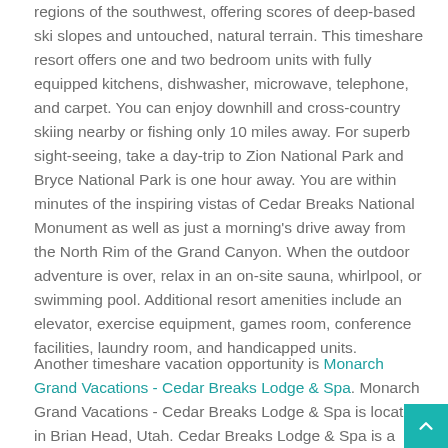regions of the southwest, offering scores of deep-based ski slopes and untouched, natural terrain. This timeshare resort offers one and two bedroom units with fully equipped kitchens, dishwasher, microwave, telephone, and carpet. You can enjoy downhill and cross-country skiing nearby or fishing only 10 miles away. For superb sight-seeing, take a day-trip to Zion National Park and Bryce National Park is one hour away. You are within minutes of the inspiring vistas of Cedar Breaks National Monument as well as just a morning's drive away from the North Rim of the Grand Canyon. When the outdoor adventure is over, relax in an on-site sauna, whirlpool, or swimming pool. Additional resort amenities include an elevator, exercise equipment, games room, conference facilities, laundry room, and handicapped units.
Another timeshare vacation opportunity is Monarch Grand Vacations - Cedar Breaks Lodge & Spa. Monarch Grand Vacations - Cedar Breaks Lodge & Spa is located in Brian Head, Utah. Cedar Breaks Lodge & Spa is a year-round, family-oriented destination with recreational activities for vacationers of all ages and abilities. Guests can relax at Cedar Breaks' on-site day spa, catch a scenic chairlift ride, or fish in the nearby lakes. Las Vegas is an easy three-hour drive. There is great skiing during the winter and tons of activities in the summer